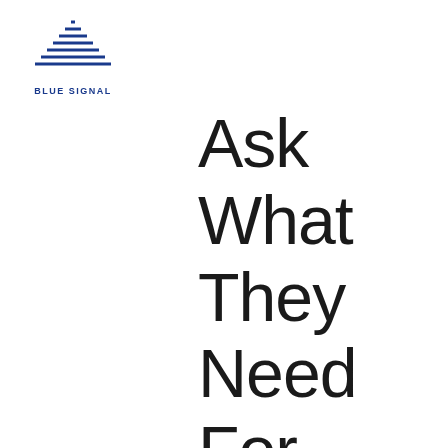[Figure (logo): Blue Signal logo — a triangular shape made of blue horizontal lines above the text 'BLUE SIGNAL' in bold blue capitals]
Ask What They Need For an Inclusive Remote